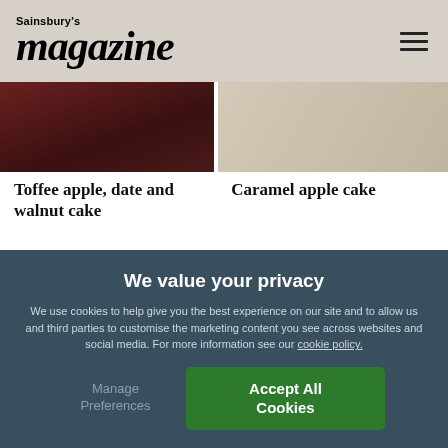Sainsbury's magazine
[Figure (photo): Two article thumbnail images: left shows a dark-toned photo of toffee apple date and walnut cake, right shows a lighter photo of caramel apple cake]
Toffee apple, date and walnut cake
Caramel apple cake
[Figure (photo): Clonakilty advertisement banner: red circular badge with Clonakilty logo and text IRELAND'S FAVOURITE PUDDING on cream background]
We value your privacy
We use cookies to help give you the best experience on our site and to allow us and third parties to customise the marketing content you see across websites and social media. For more information see our cookie policy.
Manage Preferences
Accept All Cookies